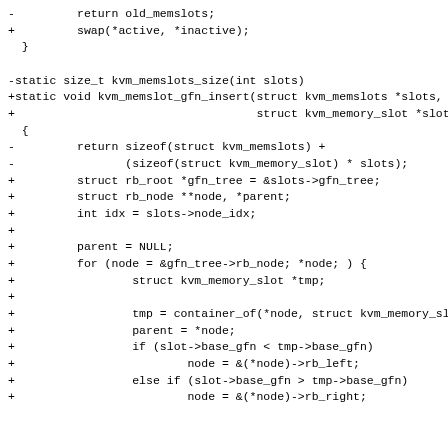Code diff showing kvm_memslots_size replaced by kvm_memslot_gfn_insert function implementation